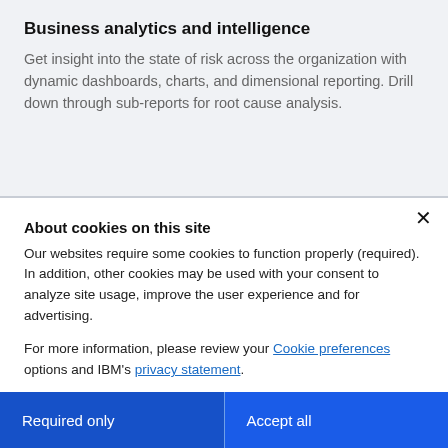Business analytics and intelligence
Get insight into the state of risk across the organization with dynamic dashboards, charts, and dimensional reporting. Drill down through sub-reports for root cause analysis.
About cookies on this site
Our websites require some cookies to function properly (required). In addition, other cookies may be used with your consent to analyze site usage, improve the user experience and for advertising.

For more information, please review your Cookie preferences options and IBM's privacy statement.